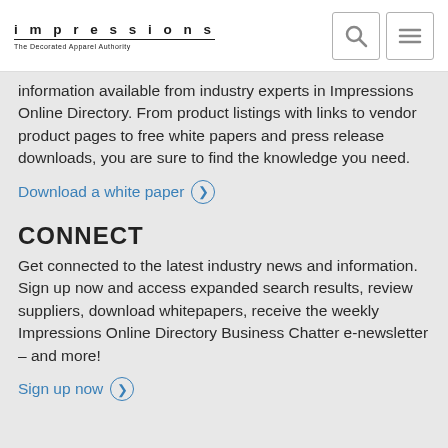impressions — The Decorated Apparel Authority
information available from industry experts in Impressions Online Directory. From product listings with links to vendor product pages to free white papers and press release downloads, you are sure to find the knowledge you need.
Download a white paper
CONNECT
Get connected to the latest industry news and information. Sign up now and access expanded search results, review suppliers, download whitepapers, receive the weekly Impressions Online Directory Business Chatter e-newsletter – and more!
Sign up now